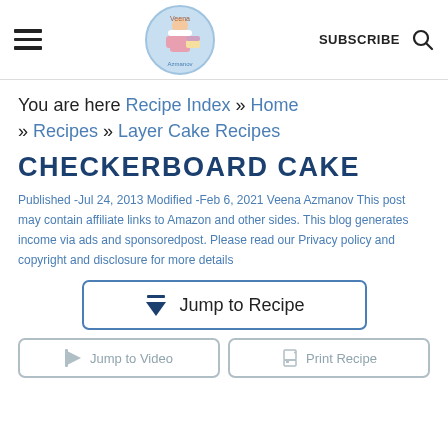Veena Azmanov — SUBSCRIBE
You are here Recipe Index » Home » Recipes » Layer Cake Recipes
CHECKERBOARD CAKE
Published -Jul 24, 2013 Modified -Feb 6, 2021 Veena Azmanov This post may contain affiliate links to Amazon and other sides. This blog generates income via ads and sponsoredpost. Please read our Privacy policy and copyright and disclosure for more details
Jump to Recipe
Jump to Video
Print Recipe